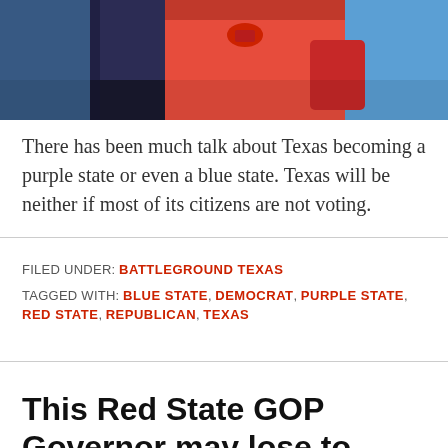[Figure (photo): Partial view of people in red and black clothing against a blue sky background]
There has been much talk about Texas becoming a purple state or even a blue state. Texas will be neither if most of its citizens are not voting.
FILED UNDER: BATTLEGROUND TEXAS
TAGGED WITH: BLUE STATE, DEMOCRAT, PURPLE STATE, RED STATE, REPUBLICAN, TEXAS
This Red State GOP Governor may lose to Democrat for cutting taxes